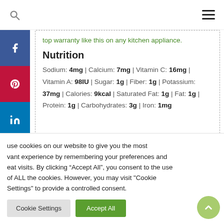Search | Menu
top warranty like this on any kitchen appliance.
Nutrition
Sodium: 4mg | Calcium: 7mg | Vitamin C: 16mg | Vitamin A: 98IU | Sugar: 1g | Fiber: 1g | Potassium: 37mg | Calories: 9kcal | Saturated Fat: 1g | Fat: 1g | Protein: 1g | Carbohydrates: 3g | Iron: 1mg
use cookies on our website to give you the most vant experience by remembering your preferences and eat visits. By clicking “Accept All”, you consent to the use of ALL the cookies. However, you may visit "Cookie Settings" to provide a controlled consent.
Cookie Settings | Accept All